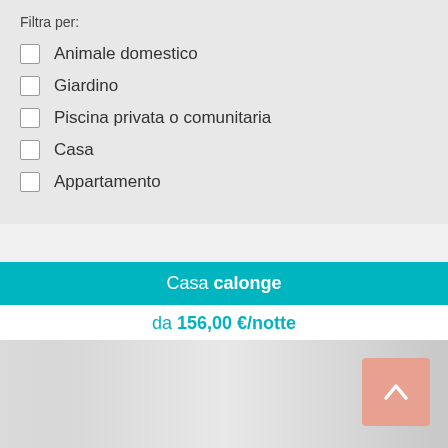Filtra per:
Animale domestico
Giardino
Piscina privata o comunitaria
Casa
Appartamento
Casa calonge
da 156,00 €/notte
[Figure (photo): Property listing image with gradient background and a pink/salmon scroll-to-top button with an upward chevron arrow in the top right area]